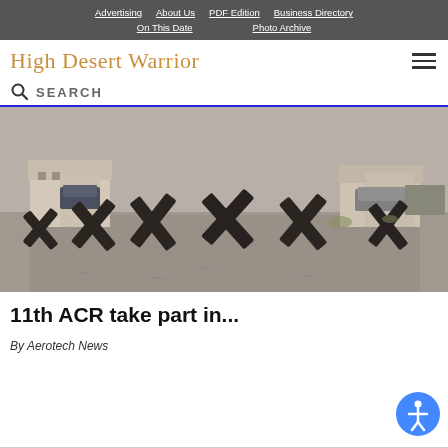Advertising | About Us | PDF Edition | Business Directory | On This Date | Photo Archive
High Desert Warrior
SEARCH
[Figure (photo): Street scene with large X-shaped anti-vehicle obstacles (tank traps) blocking a road, with military training town buildings in the background.]
11th ACR take part in...
By Aerotech News